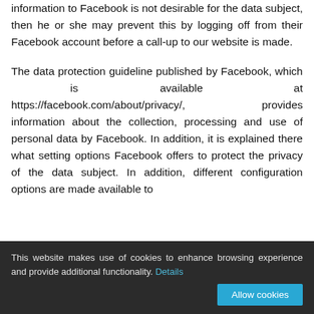information to Facebook is not desirable for the data subject, then he or she may prevent this by logging off from their Facebook account before a call-up to our website is made.
The data protection guideline published by Facebook, which is available at https://facebook.com/about/privacy/, provides information about the collection, processing and use of personal data by Facebook. In addition, it is explained there what setting options Facebook offers to protect the privacy of the data subject. In addition, different configuration options are made available to
This website makes use of cookies to enhance browsing experience and provide additional functionality. Details